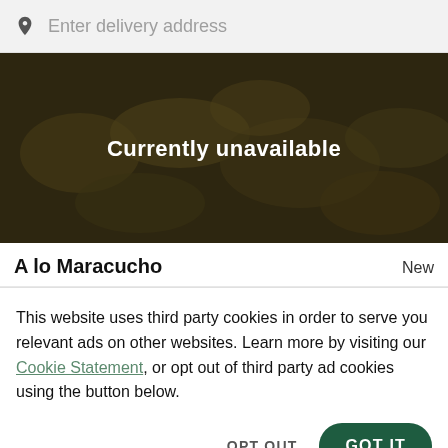Enter delivery address
[Figure (photo): Food image showing corn/pasta dish with dark overlay and text 'Currently unavailable']
A lo Maracucho
New
This website uses third party cookies in order to serve you relevant ads on other websites. Learn more by visiting our Cookie Statement, or opt out of third party ad cookies using the button below.
OPT OUT
GOT IT